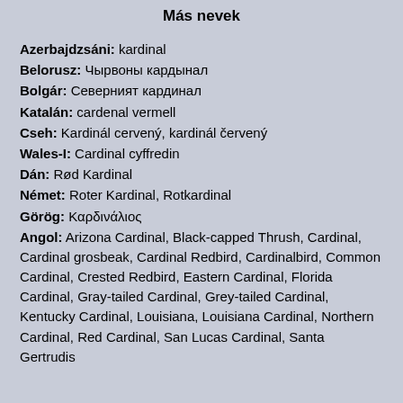Más nevek
Azerbajdzsáni: kardinal
Belorusz: Чырвоны кардынал
Bolgár: Северният кардинал
Katalán: cardenal vermell
Cseh: Kardinál cervený, kardinál červený
Wales-I: Cardinal cyffredin
Dán: Rød Kardinal
Német: Roter Kardinal, Rotkardinal
Görög: Καρδινάλιος
Angol: Arizona Cardinal, Black-capped Thrush, Cardinal, Cardinal grosbeak, Cardinal Redbird, Cardinalbird, Common Cardinal, Crested Redbird, Eastern Cardinal, Florida Cardinal, Gray-tailed Cardinal, Grey-tailed Cardinal, Kentucky Cardinal, Louisiana, Louisiana Cardinal, Northern Cardinal, Red Cardinal, San Lucas Cardinal, Santa Gertrudis Cardinal, ...